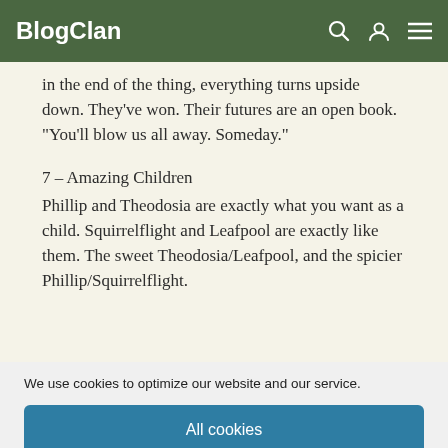BlogClan
in the end of the thing, everything turns upside down. They've won. Their futures are an open book. “You'll blow us all away. Someday.”
7 – Amazing Children
Phillip and Theodosia are exactly what you want as a child. Squirrelflight and Leafpool are exactly like them. The sweet Theodosia/Leafpool, and the spicier Phillip/Squirrelflight.
We use cookies to optimize our website and our service.
All cookies
Functional only